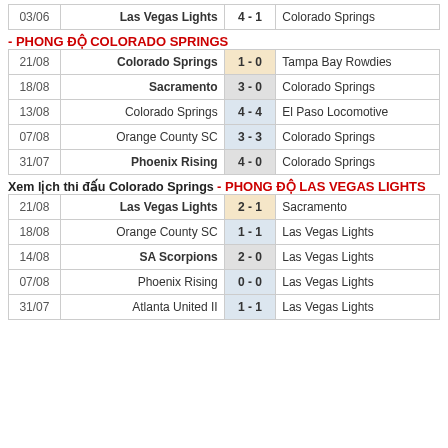| Date | Home | Score | Away |
| --- | --- | --- | --- |
| 03/06 | Las Vegas Lights | 4 - 1 | Colorado Springs |
- PHONG ĐỘ COLORADO SPRINGS
| Date | Home | Score | Away |
| --- | --- | --- | --- |
| 21/08 | Colorado Springs | 1 - 0 | Tampa Bay Rowdies |
| 18/08 | Sacramento | 3 - 0 | Colorado Springs |
| 13/08 | Colorado Springs | 4 - 4 | El Paso Locomotive |
| 07/08 | Orange County SC | 3 - 3 | Colorado Springs |
| 31/07 | Phoenix Rising | 4 - 0 | Colorado Springs |
Xem lịch thi đấu Colorado Springs
- PHONG ĐỘ LAS VEGAS LIGHTS
| Date | Home | Score | Away |
| --- | --- | --- | --- |
| 21/08 | Las Vegas Lights | 2 - 1 | Sacramento |
| 18/08 | Orange County SC | 1 - 1 | Las Vegas Lights |
| 14/08 | SA Scorpions | 2 - 0 | Las Vegas Lights |
| 07/08 | Phoenix Rising | 0 - 0 | Las Vegas Lights |
| 31/07 | Atlanta United II | 1 - 1 | Las Vegas Lights |